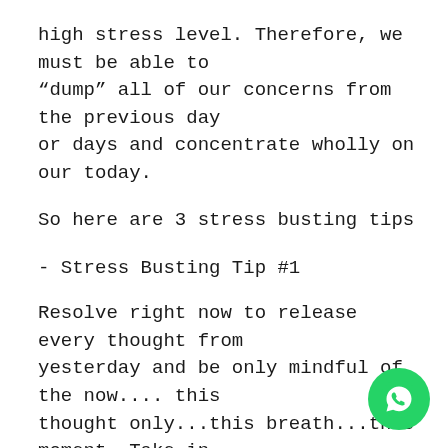high stress level. Therefore, we must be able to “dump” all of our concerns from the previous day or days and concentrate wholly on our today.
So here are 3 stress busting tips
- Stress Busting Tip #1
Resolve right now to release every thought from yesterday and be only mindful of the now.... this thought only...this breath...this moment. Take in three very deep breaths and slowly release each one.
At the same time feel each and every concern, each and every problem, and each and every unresolved moment, begin to dissolve. You can deal with t at a later time. For now, you are only to be in t